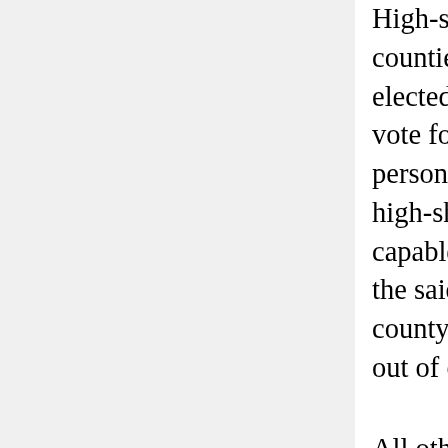High-sheriffs and coroners of counties shall be annually elected by those qualified to vote for representatives: and no person who shall have served as high-sheriff [one] year shall be capable of being re-elected to the said office in the same county till he shall have been out of office [five] years.
All other officers civil and military shall be appointed by the administrator; but such appointment shall be subject to the negative of the privy council. Saving however to the legislature a power of transferring to any